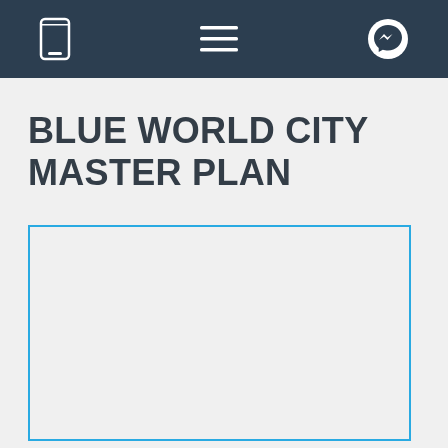Navigation bar with mobile, menu, and messenger icons
BLUE WORLD CITY MASTER PLAN
[Figure (other): Empty blue-bordered rectangular placeholder box for a master plan image]